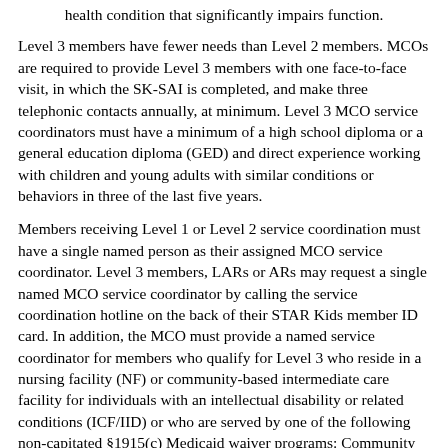health condition that significantly impairs function.
Level 3 members have fewer needs than Level 2 members. MCOs are required to provide Level 3 members with one face-to-face visit, in which the SK-SAI is completed, and make three telephonic contacts annually, at minimum. Level 3 MCO service coordinators must have a minimum of a high school diploma or a general education diploma (GED) and direct experience working with children and young adults with similar conditions or behaviors in three of the last five years.
Members receiving Level 1 or Level 2 service coordination must have a single named person as their assigned MCO service coordinator. Level 3 members, LARs or ARs may request a single named MCO service coordinator by calling the service coordination hotline on the back of their STAR Kids member ID card. In addition, the MCO must provide a named service coordinator for members who qualify for Level 3 who reside in a nursing facility (NF) or community-based intermediate care facility for individuals with an intellectual disability or related conditions (ICF/IID) or who are served by one of the following non-capitated §1915(c) Medicaid waiver programs: Community Living Assistance and Support Services (CLASS), Deaf Blind with Multiple Disabilities (DBMD), Home and Community-based Services (HCS) or Texas Home Living (TxHmL). The MCO must